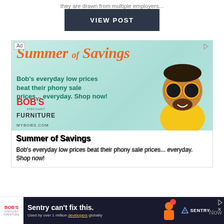they are drawn from multiple employers...
[Figure (screenshot): Dark gray 'VIEW POST' button]
[Figure (illustration): Bob's Discount Furniture 'Summer of Savings' advertisement banner with teal background, orange script title, green bold tagline text 'Bob's everyday low prices beat their phony sale prices... everyday. Shop now!', Bob's Discount Furniture logo in red and gray, MYBOBS.COM URL, and cartoon mascot figure with large round sunglasses]
Summer of Savings
Bob's everyday low prices beat their phony sale prices... everyday. Shop now!
[Figure (screenshot): Bottom Sentry advertisement bar: 'Sentry can't fix this. Used by over 1 million developers globally' with Sentry logo, and Bob's Furniture small logo on left side]